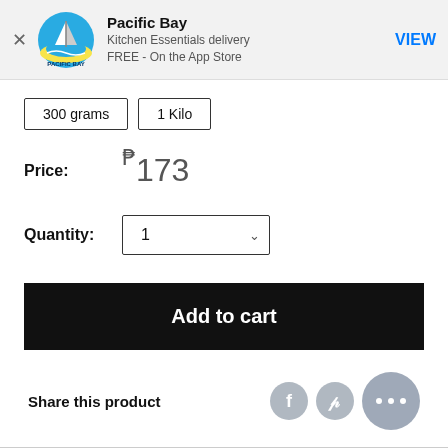[Figure (screenshot): Pacific Bay app banner with logo, app name, subtitle 'Kitchen Essentials delivery', price 'FREE - On the App Store', and VIEW button]
300 grams | 1 Kilo
Price: ₱173
Quantity: 1
Add to cart
Share this product